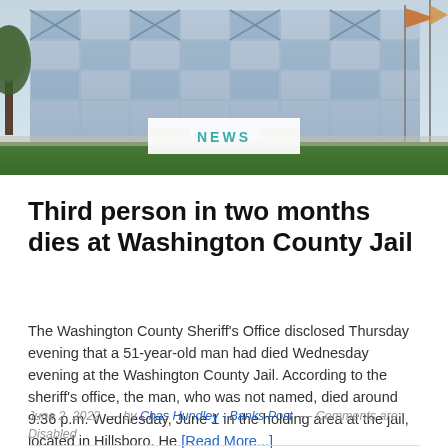[Figure (photo): Exterior photo of a government building (Washington County Jail area) with glass facade, trees, and flags visible. A NEWS category badge overlays the lower portion of the image.]
Third person in two months dies at Washington County Jail
The Washington County Sheriff's Office disclosed Thursday evening that a 51-year-old man had died Wednesday evening at the Washington County Jail. According to the sheriff's office, the man, who was not named, died around 9:36 p.m. Wednesday, June 1 in the holding area at the jail, located in Hillsboro. He [Read More...]
June 2, 2022  —  by Chas Hundley - Banks Post  —  Comments are Disabled